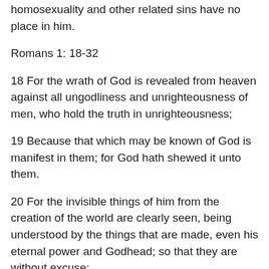homosexuality and other related sins have no place in him.
Romans 1: 18-32
18 For the wrath of God is revealed from heaven against all ungodliness and unrighteousness of men, who hold the truth in unrighteousness;
19 Because that which may be known of God is manifest in them; for God hath shewed it unto them.
20 For the invisible things of him from the creation of the world are clearly seen, being understood by the things that are made, even his eternal power and Godhead; so that they are without excuse;